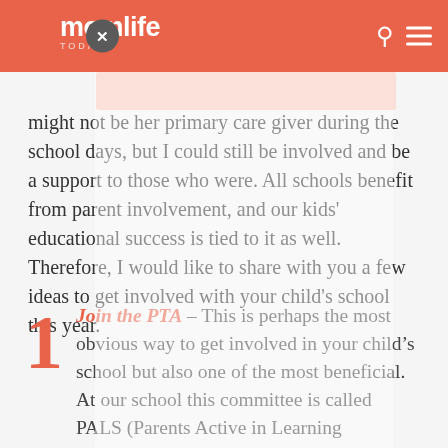momlife TODAY
might not be her primary care giver during the school days, but I could still be involved and be a support to those who were. All schools benefit from parent involvement, and our kids' educational success is tied to it as well. Therefore, I would like to share with you a few ideas to get involved with your child's school this year.
Join the PTA – This is perhaps the most obvious way to get involved in your child's school but also one of the most beneficial. At our school this committee is called PALS (Parents Active in Learning Situations), but we are simply parents who care about our school and want to fundraise to give our kids and teachers a thriving learning environment. Our